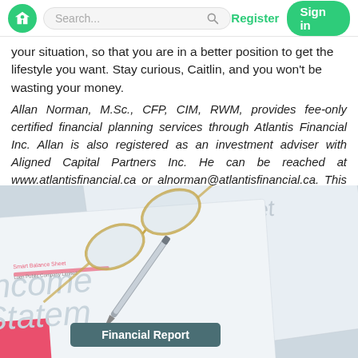Search... Register Sign in
your situation, so that you are in a better position to get the lifestyle you want. Stay curious, Caitlin, and you won't be wasting your money.
Allan Norman, M.Sc., CFP, CIM, RWM, provides fee-only certified financial planning services through Atlantis Financial Inc. Allan is also registered as an investment adviser with Aligned Capital Partners Inc. He can be reached at www.atlantisfinancial.ca or alnorman@atlantisfinancial.ca. This commentary is provided as a general source of information and is not intended to be personalized investment advice.
[Figure (photo): Photo of financial documents including an Income Statement and Balance Sheet with glasses and a pen on top, plus a dark teal label reading 'Financial Report']